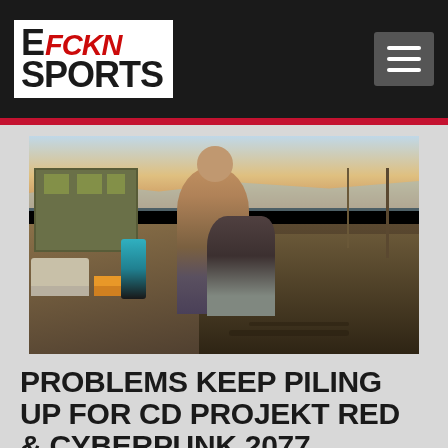[Figure (logo): EFCKN SPORTS logo — white background with stylized black and red text logo. 'E' in black, 'FCKN' in red italic, 'SPORTS' in black, all bold/black weight. On black navigation header bar with hamburger menu icon on right.]
[Figure (screenshot): Cyberpunk 2077 video game screenshot showing a character in a post-apocalyptic road scene, daylight, dusty road, two characters mid-fight/tackle, buildings and utility poles in background.]
PROBLEMS KEEP PILING UP FOR CD PROJEKT RED & CYBERPUNK 2077